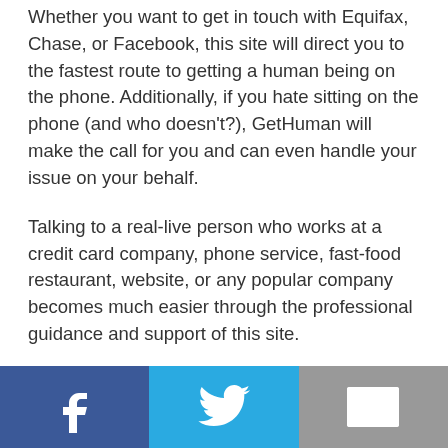Whether you want to get in touch with Equifax, Chase, or Facebook, this site will direct you to the fastest route to getting a human being on the phone. Additionally, if you hate sitting on the phone (and who doesn't?), GetHuman will make the call for you and can even handle your issue on your behalf.
Talking to a real-live person who works at a credit card company, phone service, fast-food restaurant, website, or any popular company becomes much easier through the professional guidance and support of this site.
A Small Team with a Big Heart: 8 People Serve Millions
[Figure (other): Social sharing bar with Facebook (blue), Twitter (light blue), and Email (gray) buttons]